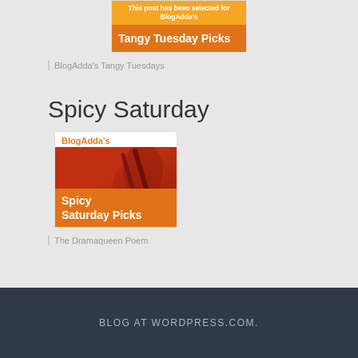[Figure (illustration): BlogAdda's Tangy Tuesday Picks badge — orange gradient banner with text 'This post has been selected for BlogAdda's Tangy Tuesday Picks']
BlogAdda's Tangy Tuesdays
Spicy Saturday
[Figure (illustration): BlogAdda's Spicy Saturday Picks badge — orange border with red chili background and orange banner text]
The Dramaqueen Poem
BLOG AT WORDPRESS.COM.